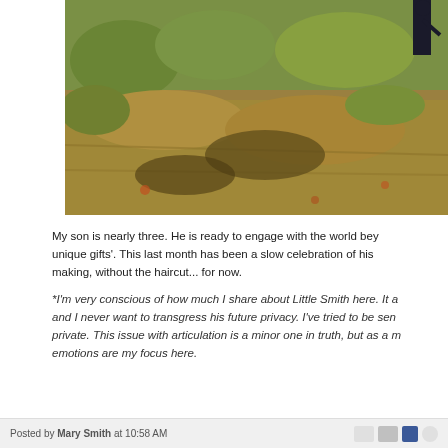[Figure (photo): Outdoor photo of a grassy, brushy hillside with dry and green vegetation. A person in dark clothing is visible at the top right corner of the image.]
My son is nearly three. He is ready to engage with the world beyond his 'unique gifts'. This last month has been a slow celebration of his making, without the haircut... for now.
*I'm very conscious of how much I share about Little Smith here. It and I never want to transgress his future privacy. I've tried to be sensitive and private. This issue with articulation is a minor one in truth, but as a mother my emotions are my focus here.
Posted by Mary Smith at 10:58 AM